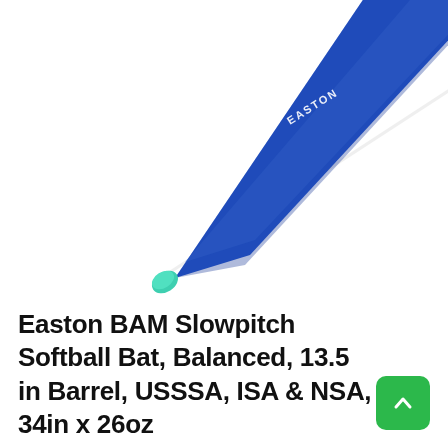[Figure (photo): An Easton BAM slowpitch softball bat shown diagonally from bottom-left to top-right. The bat is blue with a teal/mint green end cap and white barrel area with the BAM brand name. 'EASTON' text runs along the blue handle.]
Easton BAM Slowpitch Softball Bat, Balanced, 13.5 in Barrel, USSSA, ISA & NSA, 34in x 26oz